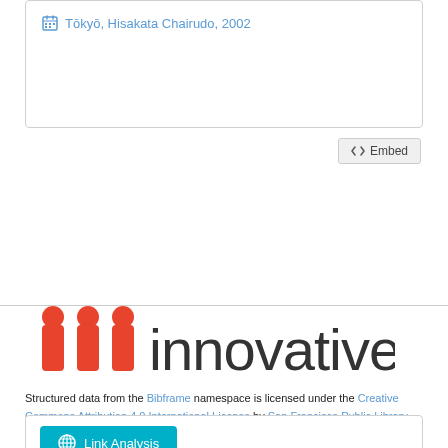Tōkyō, Hisakata Chairudo, 2002
<> Embed
[Figure (logo): Innovative Interfaces logo with three orange bar chart columns and the word 'innovative' in dark gray]
Structured data from the Bibframe namespace is licensed under the Creative Commons Attribution 4.0 International License by San Francisco Public Library. Additional terms may apply to data associated with third party namespaces.
Link Analysis